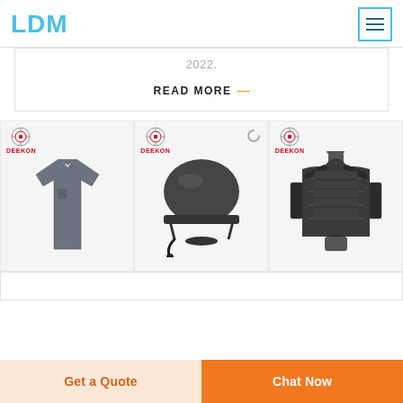LDM
2022.
READ MORE →
[Figure (photo): Three product images from Deekon brand: a dark gray short-sleeve shirt, a black motorcycle/tactical helmet with communication device, and a black tactical plate carrier vest on a mannequin.]
Get a Quote
Chat Now